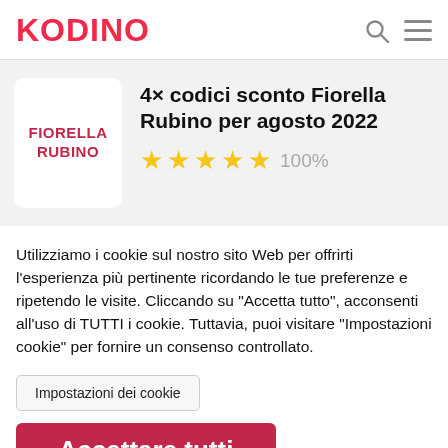KODINO
4× codici sconto Fiorella Rubino per agosto 2022
[Figure (logo): Fiorella Rubino brand logo in red on white box]
★★★★★ 100%
Utilizziamo i cookie sul nostro sito Web per offrirti l'esperienza più pertinente ricordando le tue preferenze e ripetendo le visite. Cliccando su "Accetta tutto", acconsenti all'uso di TUTTI i cookie. Tuttavia, puoi visitare "Impostazioni cookie" per fornire un consenso controllato.
Impostazioni dei cookie
Accettare tutti